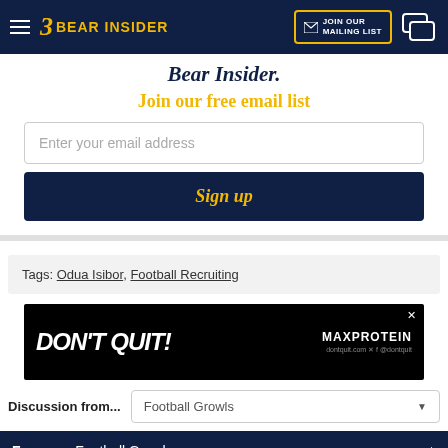Bear Insider — JOIN OUR MAILING LIST
Bear Insider.
Join our free email list
Enter your email address
Sign up
Tags: Odua Isibor, Football Recruiting
[Figure (other): DON'T QUIT! MAX PROTEIN advertisement banner]
Discussion from...   Football Growls
Forums   Football Growls
Isibor Down to Cal and Auburn, Almost